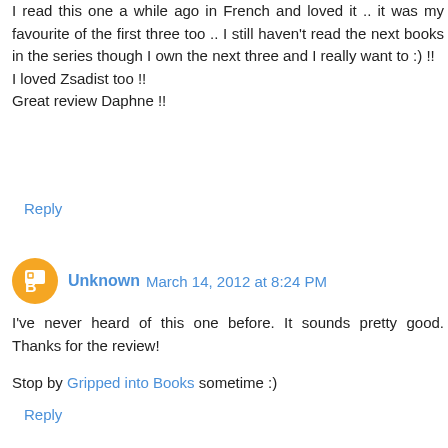I read this one a while ago in French and loved it .. it was my favourite of the first three too .. I still haven't read the next books in the series though I own the next three and I really want to :) !!
I loved Zsadist too !!
Great review Daphne !!
Reply
Unknown March 14, 2012 at 8:24 PM
I've never heard of this one before. It sounds pretty good. Thanks for the review!
Stop by Gripped into Books sometime :)
Reply
Anonymous March 15, 2012 at 9:36 AM
I love the series! Even that Z is not the type of favourite guy i will normally pick from the series I really enjoy his story! The series are great I cant even remember my self how i